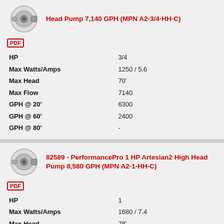82589 - PerformancePro 3/4 HP Artesian2 High Head Pump 7,140 GPH (MPN A2-3/4-HH-C)
| Spec | Value |
| --- | --- |
| HP | 3/4 |
| Max Watts/Amps | 1250 / 5.6 |
| Max Head | 70' |
| Max Flow | 7140 |
| GPH @ 20' | 6300 |
| GPH @ 60' | 2400 |
| GPH @ 80' | - |
82589 - PerformancePro 1 HP Artesian2 High Head Pump 8,580 GPH (MPN A2-1-HH-C)
| Spec | Value |
| --- | --- |
| HP | 1 |
| Max Watts/Amps | 1680 / 7.4 |
| Max Head | 78' |